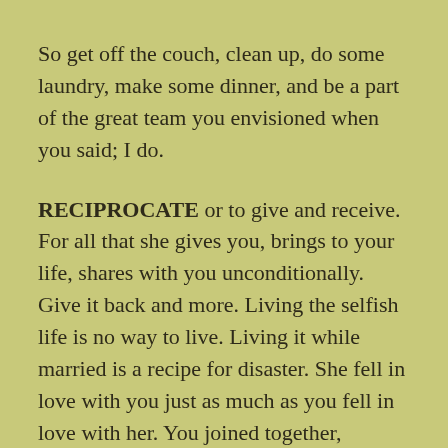So get off the couch, clean up, do some laundry, make some dinner, and be a part of the great team you envisioned when you said; I do.
RECIPROCATE or to give and receive. For all that she gives you, brings to your life, shares with you unconditionally. Give it back and more. Living the selfish life is no way to live. Living it while married is a recipe for disaster. She fell in love with you just as much as you fell in love with her. You joined together, whether under the eyes of a God or the powers of the universe. For every little moment you share, a touch of a hand, sweet kiss or even just that special way you gaze at each other from across a room. Reciprocate, give it back, and then give it back some more. Never stop giving, never stop touching, never stop saying you love each other, never stop